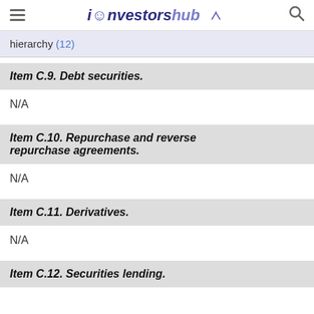investorshub
hierarchy (12)
Item C.9. Debt securities.
N/A
Item C.10. Repurchase and reverse repurchase agreements.
N/A
Item C.11. Derivatives.
N/A
Item C.12. Securities lending.